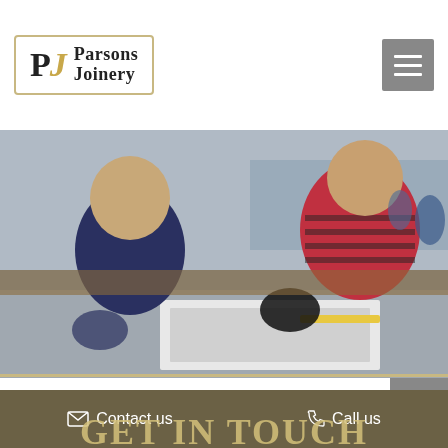[Figure (logo): Parsons Joinery logo: PJ monogram with serif 'Parsons Joinery' text inside a bordered box]
[Figure (photo): Two men working in a joinery workshop, measuring or examining a window frame on a workbench. One in a navy shirt, one in a red striped long-sleeve. Workshop tools and equipment visible in background.]
GLASS UPGRADES
Contact us   Call us